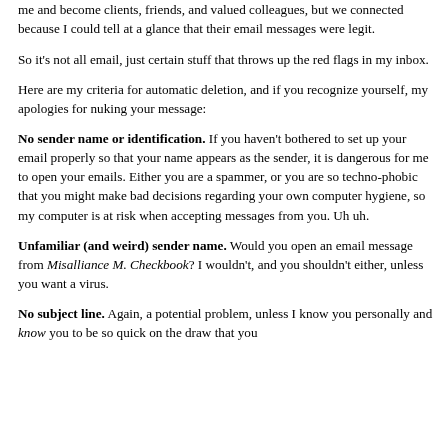like, and trust, has tried to sell me Viagra, get my bank account number, or given me a computer virus (deliberately).  Complete strangers have written to me and become clients, friends, and valued colleagues, but we connected because I could tell at a glance that their email messages were legit.
So it's not all email, just certain stuff that throws up the red flags in my inbox.
Here are my criteria for automatic deletion, and if you recognize yourself, my apologies for nuking your message:
No sender name or identification.  If you haven't bothered to set up your email properly so that your name appears as the sender, it is dangerous for me to open your emails.  Either you are a spammer, or you are so techno-phobic that you might make bad decisions regarding your own computer hygiene, so my computer is at risk when accepting messages from you. Uh uh.
Unfamiliar (and weird) sender name.  Would you open an email message from Misalliance M. Checkbook?  I wouldn't, and you shouldn't either, unless you want a virus.
No subject line.  Again, a potential problem, unless I know you personally and know you to be so quick on the draw that you